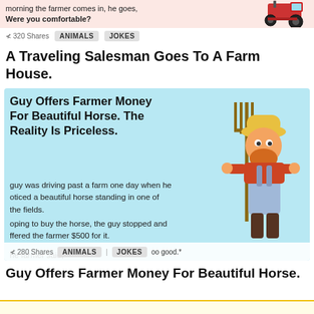[Figure (screenshot): Top portion of an article card with pink/salmon background showing partial text 'morning the farmer comes in, he goes, Were you comfortable?' with a tractor image on the right, and a footer showing '320 Shares' and tags 'ANIMALS' and 'JOKES']
A Traveling Salesman Goes To A Farm House.
[Figure (screenshot): Article card with light blue background showing headline 'Guy Offers Farmer Money For Beautiful Horse. The Reality Is Priceless.' with body text about a guy driving past a farm, noticing a beautiful horse, and offering the farmer $500 for it. A cartoon farmer holding a pitchfork is on the right. Footer shows '280 Shares' and tags 'ANIMALS' and 'JOKES' followed by 'oo good.']
Guy Offers Farmer Money For Beautiful Horse.